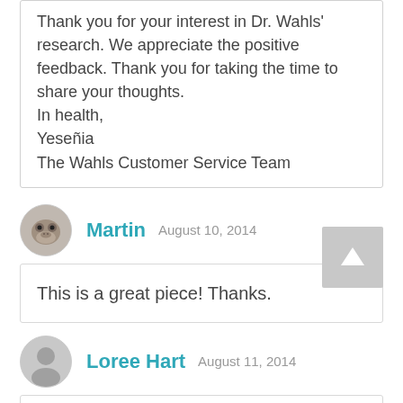Thank you for your interest in Dr. Wahls' research. We appreciate the positive feedback. Thank you for taking the time to share your thoughts.
In health,
Yeseñia
The Wahls Customer Service Team
Martin  August 10, 2014
This is a great piece! Thanks.
Loree Hart  August 11, 2014
Brilliant. I can tell you that my 22 yr. old son